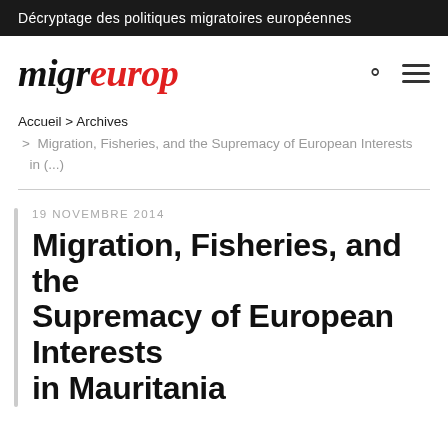Décryptage des politiques migratoires européennes
[Figure (logo): migreurop logo — italic serif text with 'migr' in black and 'europ' in red]
Accueil > Archives > Migration, Fisheries, and the Supremacy of European Interests in (...)
19 NOVEMBRE 2014
Migration, Fisheries, and the Supremacy of European Interests in Mauritania